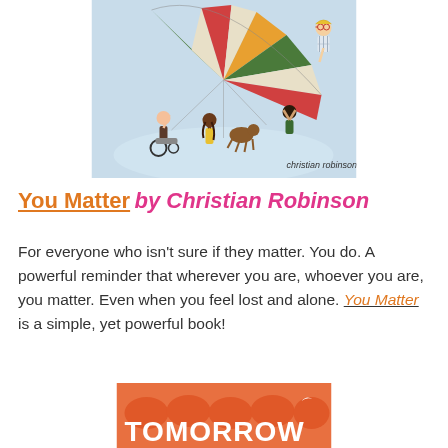[Figure (illustration): Book cover of 'You Matter' by Christian Robinson showing children of diverse backgrounds playing with a large colorful parachute. One child is in a wheelchair. The author's name 'christian robinson' appears in the lower right corner.]
You Matter by Christian Robinson
For everyone who isn't sure if they matter. You do. A powerful reminder that wherever you are, whoever you are, you matter. Even when you feel lost and alone. You Matter is a simple, yet powerful book!
[Figure (illustration): Partial view of another book cover showing the word TOMORROW on an orange background.]